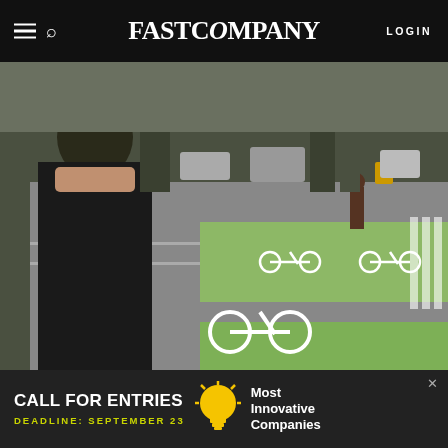FAST COMPANY
[Figure (photo): Woman wearing a green helmet viewed from behind, looking at a city street with green painted bicycle lanes and bicycle symbols on the road]
[PHOTOS: FLICKR USER PAUL KRUEGER]
[Figure (infographic): Social sharing icons row: Facebook, Twitter, LinkedIn, Email]
BY ADELE PETERS
2 MINUTE READ
[Figure (infographic): Advertisement banner: CALL FOR ENTRIES, DEADLINE: SEPTEMBER 23, Most Innovative Companies, with lightbulb icon]